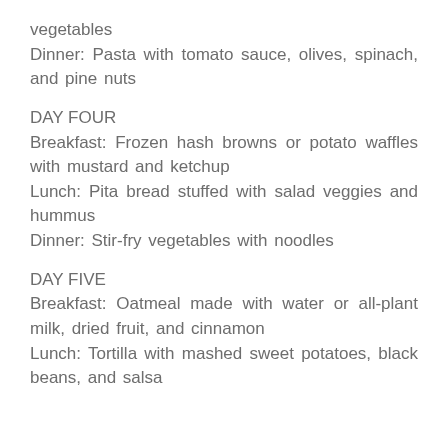vegetables
Dinner: Pasta with tomato sauce, olives, spinach, and pine nuts
DAY FOUR
Breakfast: Frozen hash browns or potato waffles with mustard and ketchup
Lunch: Pita bread stuffed with salad veggies and hummus
Dinner: Stir-fry vegetables with noodles
DAY FIVE
Breakfast: Oatmeal made with water or all-plant milk, dried fruit, and cinnamon
Lunch: Tortilla with mashed sweet potatoes, black beans, and salsa